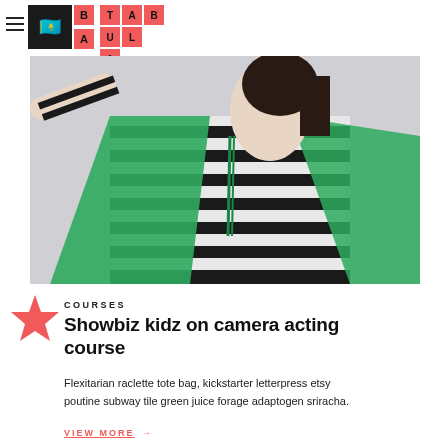[Figure (logo): Tabula website logo with dark square icon containing flag emoji and salmon-colored letter tiles spelling TABULA in a grid]
[Figure (photo): A young person wearing a black and white striped shirt and a green cape, arms outstretched, photographed against a light gray background]
COURSES
Showbiz kidz on camera acting course
Flexitarian raclette tote bag, kickstarter letterpress etsy poutine subway tile green juice forage adaptogen sriracha.
VIEW MORE →